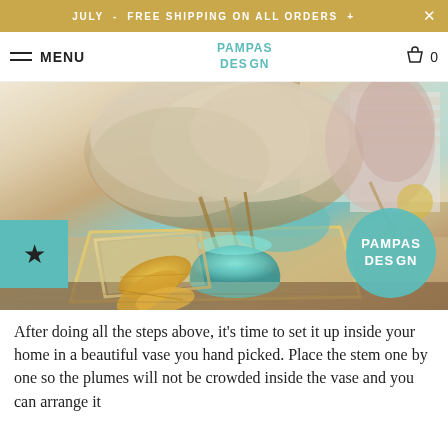JULY - FREE SHIPPING ON ALL ORDERS + ×
MENU | PAMPAS DESIGN | 🛒 0
[Figure (photo): Pampas grass arrangement in a teal/aqua glass vase on a mirrored tray, with gold decorative fern leaves beside it. A teal square badge with a star is on the left side, and a circular Pampas Design logo badge is in the lower right corner of the photo.]
After doing all the steps above, it's time to set it up inside your home in a beautiful vase you hand picked. Place the stem one by one so the plumes will not be crowded inside the vase and you can arrange it more and showcase every stem of the plumes.